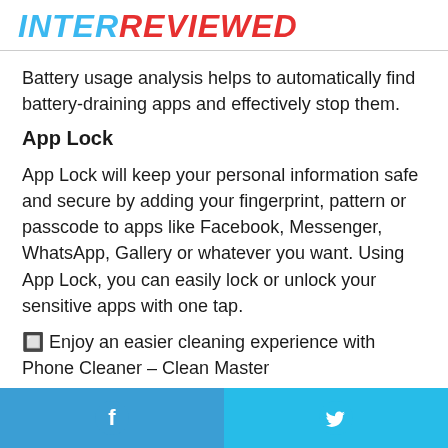INTERREVIEWED
Battery usage analysis helps to automatically find battery-draining apps and effectively stop them.
App Lock
App Lock will keep your personal information safe and secure by adding your fingerprint, pattern or passcode to apps like Facebook, Messenger, WhatsApp, Gallery or whatever you want. Using App Lock, you can easily lock or unlock your sensitive apps with one tap.
🔲 Enjoy an easier cleaning experience with Phone Cleaner – Clean Master
Facebook share | Twitter share